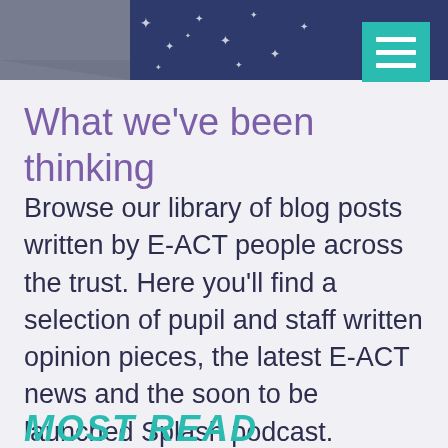[Figure (photo): Top banner image showing dark blue/navy fabric with white star patterns and a grey section on the left, partially visible person on right]
[Figure (other): Teal/turquoise hamburger menu button with three white horizontal lines]
What we've been thinking
Browse our library of blog posts written by E-ACT people across the trust. Here you'll find a selection of pupil and staff written opinion pieces, the latest E-ACT news and the soon to be launched Splash podcast.
MOST READ